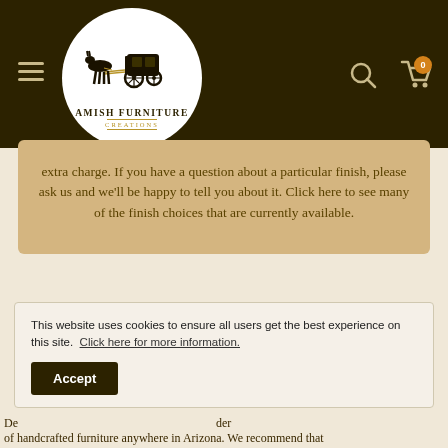[Figure (logo): Amish Furniture Creations logo — circular white badge with horse-drawn carriage illustration and text 'AMISH FURNITURE CREATIONS' in dark brown and gold on dark brown navigation bar]
extra charge. If you have a question about a particular finish, please ask us and we'll be happy to tell you about it. Click here to see many of the finish choices that are currently available.
This website uses cookies to ensure all users get the best experience on this site. Click here for more information.
Accept
De ... der of handcrafted furniture anywhere in Arizona. We recommend that